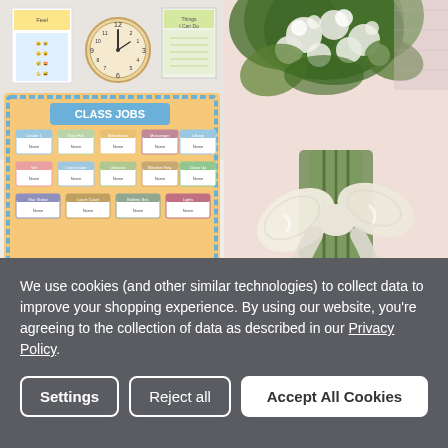[Figure (photo): Left photo: classroom interior with a bulletin board labeled 'CLASS JOBS' in blue and tan colors, decorative borders, job assignment cards. Above the bulletin board are wall posters and a round wooden clock. Below is a dresser with a plant basket and a palm plant on the floor.]
[Figure (photo): Right photo: a lush green floral bouquet with white/cream flowers and greenery, tied with a large white satin bow/ribbon, placed on a soft pink background with some fabric visible.]
We use cookies (and other similar technologies) to collect data to improve your shopping experience. By using our website, you're agreeing to the collection of data as described in our Privacy Policy.
Settings | Reject all | Accept All Cookies